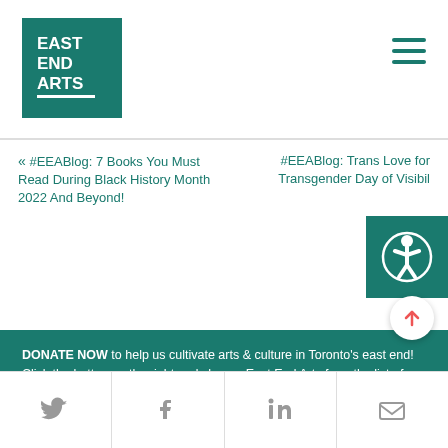[Figure (logo): East End Arts logo — green square with EAST END ARTS text in white block letters]
« #EEABlog: 7 Books You Must Read During Black History Month 2022 And Beyond!
#EEABlog: Trans Love for Transgender Day of Visibility
DONATE NOW to help us cultivate arts & culture in Toronto's east end! Click the button on the right and choose East End Arts from the list of options when prompted. Thank you!
DONATE NOW
[Figure (infographic): Social share footer bar with Twitter, Facebook, LinkedIn, and email icons]